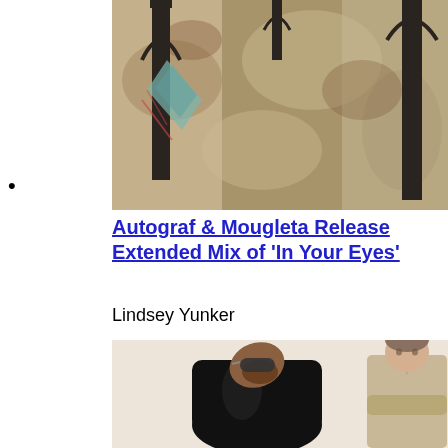[Figure (photo): Top portion of a photo showing Gothic-style architectural elements with dark metal frames and aged stone/concrete background in warm earth tones]
Autograf & Mougleta Release Extended Mix of 'In Your Eyes'
Lindsey Yunker
[Figure (photo): Photo of two men: one in a large black leather coat looking upward wearing sunglasses, and one in a beige/tan jacket standing with arms crossed, both against a cream/beige background]